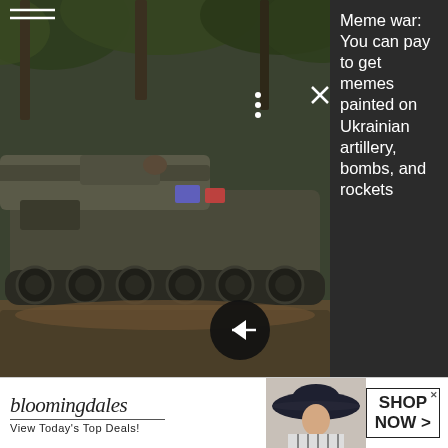[Figure (photo): A military tank (Ukrainian artillery vehicle) photographed outdoors among trees. The image shows a large tracked armored vehicle with a long cannon barrel, covered in camouflage and stickers. Overlaid UI elements include a three-dot menu icon, an X close button, a black circular arrow button, and a dark sidebar with article headline text.]
Meme war: You can pay to get memes painted on Ukrainian artillery, bombs, and rockets
Getting angry once or twice is recoverable (with an apology). But it doesn't take much to become branded
[Figure (photo): Bloomingdale's advertisement banner. Shows the Bloomingdale's logo with tagline 'View Today's Top Deals!', a photo of a woman in a wide-brim hat, and a 'SHOP NOW >' call-to-action button.]